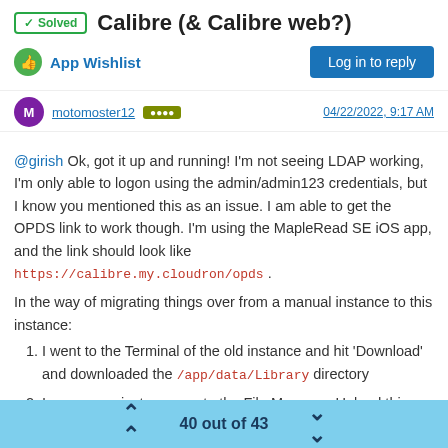✓ Solved  Calibre (& Calibre web?)
App Wishlist
motomoster12  [tag]  04/22/2022, 9:17 AM
@girish Ok, got it up and running! I'm not seeing LDAP working, I'm only able to logon using the admin/admin123 credentials, but I know you mentioned this as an issue. I am able to get the OPDS link to work though. I'm using the MapleRead SE iOS app, and the link should look like https://calibre.my.cloudron/opds .
In the way of migrating things over from a manual instance to this instance:
I went to the Terminal of the old instance and hit 'Download' and downloaded the /app/data/Library directory
In your new instance, go to the File Manager. Upload this Library folder. Change permissions to the folder from 'root' to 'cloudron'.
In your new Calibre instance, go to the 'Admin' view page. Under 'Basic Configuration' => 'Library Configuration' put
40 out of 43